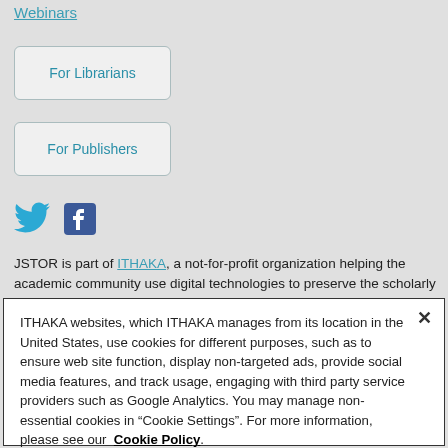Webinars
For Librarians
For Publishers
[Figure (illustration): Twitter bird icon (blue) and Facebook logo icon (dark blue square with white f)]
JSTOR is part of ITHAKA, a not-for-profit organization helping the academic community use digital technologies to preserve the scholarly
ITHAKA websites, which ITHAKA manages from its location in the United States, use cookies for different purposes, such as to ensure web site function, display non-targeted ads, provide social media features, and track usage, engaging with third party service providers such as Google Analytics. You may manage non-essential cookies in “Cookie Settings”. For more information, please see our Cookie Policy.